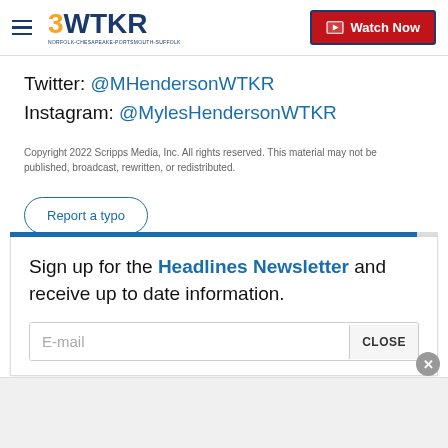3WTKR — Watch Now
Twitter: @MHendersonWTKR
Instagram: @MylesHendersonWTKR
Copyright 2022 Scripps Media, Inc. All rights reserved. This material may not be published, broadcast, rewritten, or redistributed.
Report a typo
Sign up for the Headlines Newsletter and receive up to date information.
E-mail
CLOSE